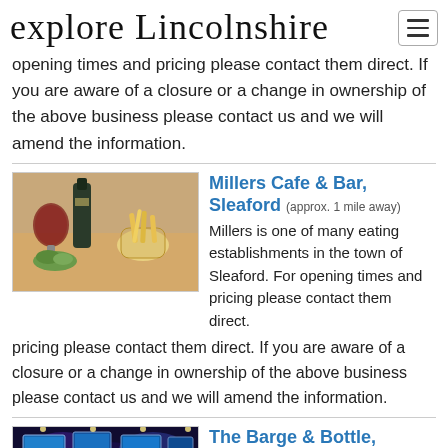explore Lincolnshire
opening times and pricing please contact them direct. If you are aware of a closure or a change in ownership of the above business please contact us and we will amend the information.
[Figure (photo): Photo of wine glass and chips/fries in a glass at a cafe]
Millers Cafe & Bar, Sleaford (approx. 1 mile away) Millers is one of many eating establishments in the town of Sleaford. For opening times and pricing please contact them direct. If you are aware of a closure or a change in ownership of the above business please contact us and we will amend the information.
[Figure (photo): Photo of a bar interior with lights and TV screens]
The Barge & Bottle, Sleaford (approx. 1 mile away)